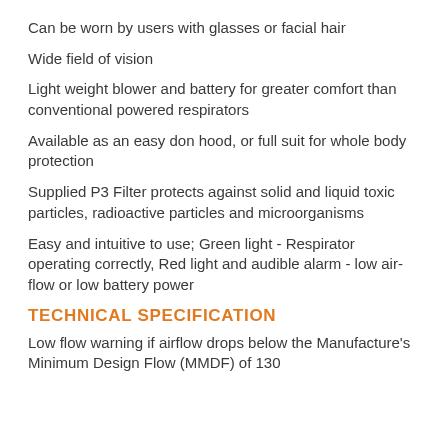Can be worn by users with glasses or facial hair
Wide field of vision
Light weight blower and battery for greater comfort than conventional powered respirators
Available as an easy don hood, or full suit for whole body protection
Supplied P3 Filter protects against solid and liquid toxic particles, radioactive particles and microorganisms
Easy and intuitive to use; Green light - Respirator operating correctly, Red light and audible alarm - low air-flow or low battery power
TECHNICAL SPECIFICATION
Low flow warning if airflow drops below the Manufacture's Minimum Design Flow (MMDF) of 130